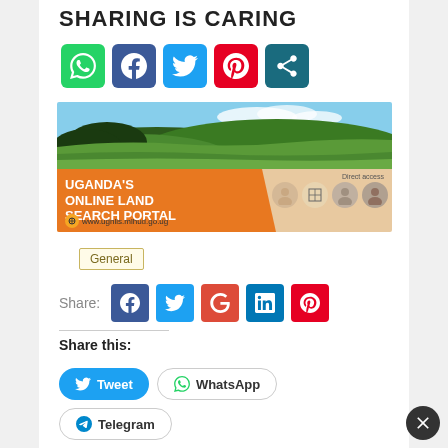SHARING IS CARING
[Figure (infographic): Social sharing icons: WhatsApp (green), Facebook (blue), Twitter (light blue), Pinterest (red), Share (dark teal)]
[Figure (photo): Uganda's Online Land Search Portal advertisement banner - showing green terraced hillside landscape and portal branding with URL www.ugnlis.mlhud.go.ug]
General
Share:
[Figure (infographic): Social share buttons: Facebook (blue), Twitter (light blue), Google+ (red), LinkedIn (blue), Pinterest (red)]
Share this:
[Figure (infographic): Share buttons: Tweet (blue rounded), WhatsApp (outlined), Telegram (outlined)]